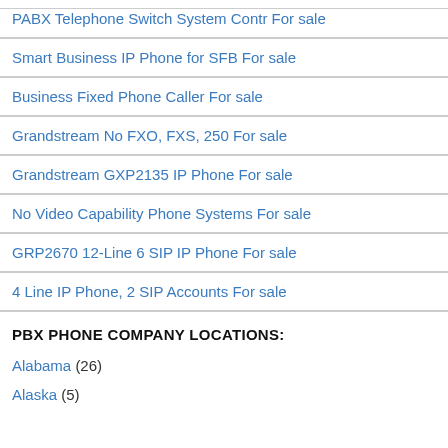PABX Telephone Switch System Contr For sale
Smart Business IP Phone for SFB For sale
Business Fixed Phone Caller For sale
Grandstream No FXO, FXS, 250 For sale
Grandstream GXP2135 IP Phone For sale
No Video Capability Phone Systems For sale
GRP2670 12-Line 6 SIP IP Phone For sale
4 Line IP Phone, 2 SIP Accounts For sale
PBX PHONE COMPANY LOCATIONS:
Alabama (26)
Alaska (5)